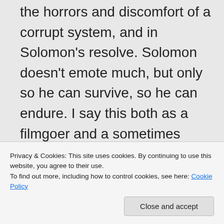the horrors and discomfort of a corrupt system, and in Solomon's resolve. Solomon doesn't emote much, but only so he can survive, so he can endure. I say this both as a filmgoer and a sometimes writer
Privacy & Cookies: This site uses cookies. By continuing to use this website, you agree to their use.
To find out more, including how to control cookies, see here: Cookie Policy